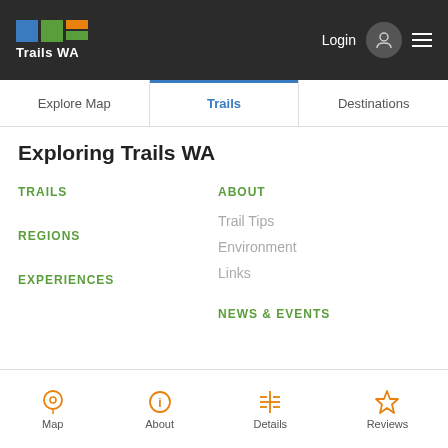Trails WA — Login header with navigation
Explore Map | Trails | Destinations
Exploring Trails WA
TRAILS
REGIONS
EXPERIENCES
ABOUT
Trail Tips
Environment
Links
NEWS & EVENTS
Map | About | Details | Reviews